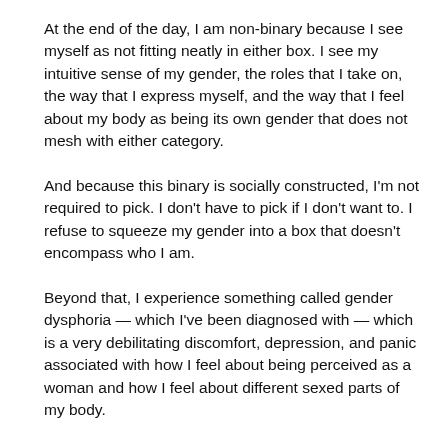At the end of the day, I am non-binary because I see myself as not fitting neatly in either box. I see my intuitive sense of my gender, the roles that I take on, the way that I express myself, and the way that I feel about my body as being its own gender that does not mesh with either category.
And because this binary is socially constructed, I'm not required to pick. I don't have to pick if I don't want to. I refuse to squeeze my gender into a box that doesn't encompass who I am.
Beyond that, I experience something called gender dysphoria — which I've been diagnosed with — which is a very debilitating discomfort, depression, and panic associated with how I feel about being perceived as a woman and how I feel about different sexed parts of my body.